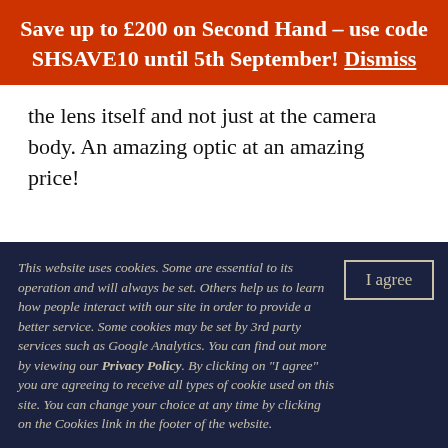Save up to £200 on Second Hand - use code SHSAVE10 until 5th September! Dismiss
the lens itself and not just at the camera body. An amazing optic at an amazing price!
This website uses cookies. Some are essential to its operation and will always be set. Others help us to learn how people interact with our site in order to provide a better service. Some cookies may be set by 3rd party services such as Google Analytics. You can find out more by viewing our Privacy Policy. By clicking on "I agree" you are agreeing to receive all types of cookie used on this site. You can change your choice at any time by clicking on the Cookies link in the footer of the website.